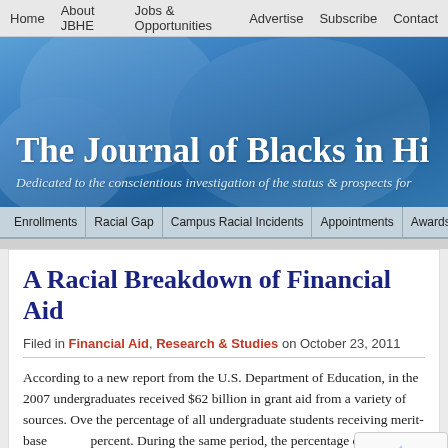Home | About JBHE | Jobs & Opportunities | Advertise | Subscribe | Contact
[Figure (illustration): Blue gradient banner with faded background imagery showing The Journal of Blacks in Higher Education masthead]
Enrollments | Racial Gap | Campus Racial Incidents | Appointments | Awards | Grants | Bo...
A Racial Breakdown of Financial Aid
Filed in Financial Aid, Research & Studies on October 23, 2011
According to a new report from the U.S. Department of Education, in the 2007 undergraduates received $62 billion in grant aid from a variety of sources. Over the percentage of all undergraduate students receiving merit-based ... percent. During the same period, the percentage of all undergrad... increased from 32 percent to 37 percent.